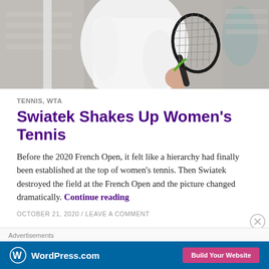[Figure (photo): Tennis player in white long-sleeve top holding a green-accented tennis racket, with blurred stadium seating and spectators in the background]
TENNIS, WTA
Swiatek Shakes Up Women's Tennis
Before the 2020 French Open, it felt like a hierarchy had finally been established at the top of women's tennis. Then Swiatek destroyed the field at the French Open and the picture changed dramatically. Continue reading
OCTOBER 21, 2020 / LEAVE A COMMENT
[Figure (other): WordPress.com advertisement banner with logo and 'Build Your Website' button on a dark blue background]